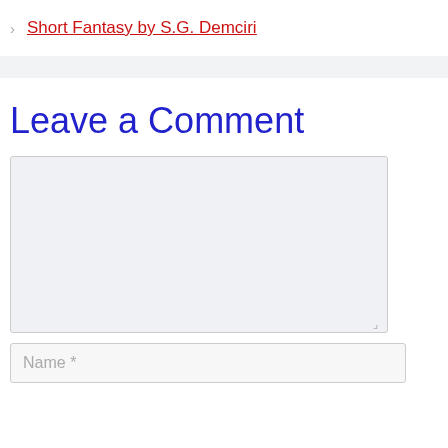> Short Fantasy by S.G. Demciri
Leave a Comment
[Figure (other): Comment text area input box (empty, light gray background)]
[Figure (other): Name input field with placeholder text 'Name *']